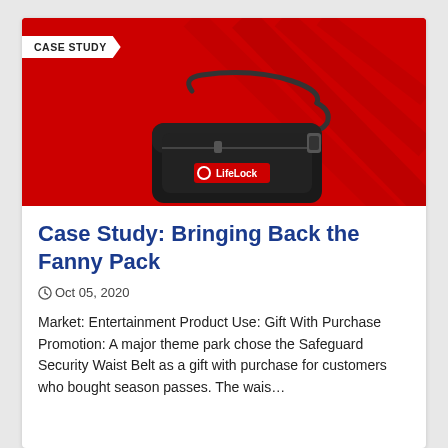[Figure (photo): A red background promotional image with 'CASE STUDY' banner in the top-left corner and a black LifeLock-branded fanny pack/security waist belt in the center.]
Case Study: Bringing Back the Fanny Pack
Oct 05, 2020
Market: Entertainment Product Use: Gift With Purchase Promotion: A major theme park chose the Safeguard Security Waist Belt as a gift with purchase for customers who bought season passes. The wais…